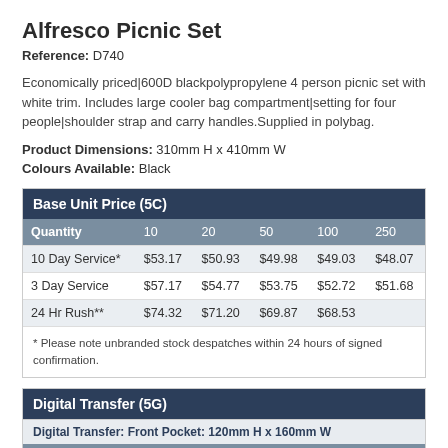Alfresco Picnic Set
Reference: D740
Economically priced|600D blackpolypropylene 4 person picnic set with white trim. Includes large cooler bag compartment|setting for four people|shoulder strap and carry handles.Supplied in polybag.
Product Dimensions: 310mm H x 410mm W
Colours Available: Black
Base Unit Price (5C)
| Quantity | 10 | 20 | 50 | 100 | 250 |
| --- | --- | --- | --- | --- | --- |
| 10 Day Service* | $53.17 | $50.93 | $49.98 | $49.03 | $48.07 |
| 3 Day Service | $57.17 | $54.77 | $53.75 | $52.72 | $51.68 |
| 24 Hr Rush** | $74.32 | $71.20 | $69.87 | $68.53 |  |
* Please note unbranded stock despatches within 24 hours of signed confirmation.
Digital Transfer (5G)
Digital Transfer: Front Pocket: 120mm H x 160mm W
| Quantity | 10 | 20 | 50 | 100 | 250 |
| --- | --- | --- | --- | --- | --- |